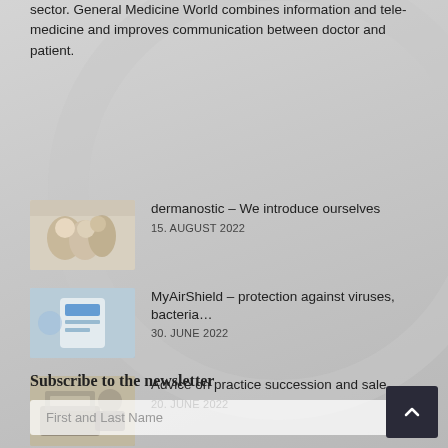sector. General Medicine World combines information and telemedicine and improves communication between doctor and patient.
dermanostic — We introduce ourselves
15. AUGUST 2022
MyAirShield — protection against viruses, bacteria...
30. JUNE 2022
Advice on practice succession and sale
20. JUNE 2022
Subscribe to the newsletter